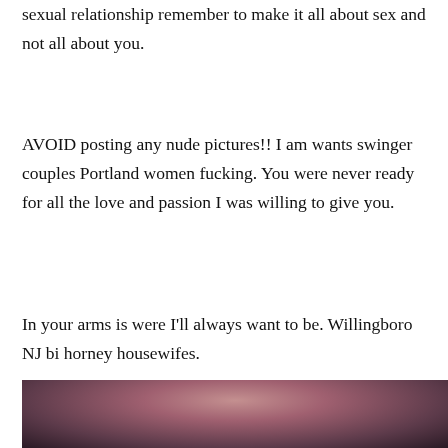sexual relationship remember to make it all about sex and not all about you.
AVOID posting any nude pictures!! I am wants swinger couples Portland women fucking. You were never ready for all the love and passion I was willing to give you.
In your arms is were I'll always want to be. Willingboro NJ bi horney housewifes.
[Figure (photo): Partial photo of a person, cropped at bottom of page, dark warm-toned background]